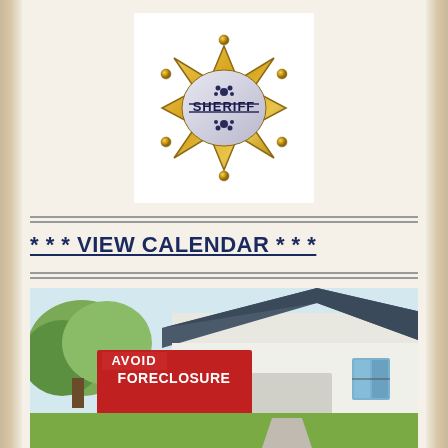[Figure (illustration): Gold sheriff star badge with 'SHERIFF' text in the center, decorative floral elements, and six ball-tipped points on a white background]
* * * VIEW CALENDAR * * *
[Figure (photo): Photo of a suburban house with a red 'AVOID FORECLOSURE' yard sign in the foreground]